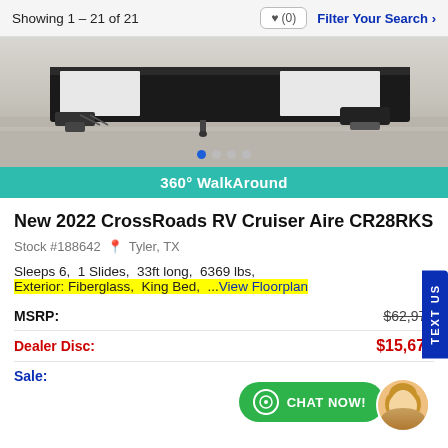Showing 1 – 21 of 21
[Figure (photo): RV undercarriage and hitch area photo, showing black metal components on a concrete surface. Carousel dots below indicating multiple images.]
360° WalkAround
New 2022 CrossRoads RV Cruiser Aire CR28RKS
Stock #188642  Tyler, TX
Sleeps 6,  1 Slides,  33ft long,  6369 lbs,  Exterior: Fiberglass,  King Bed,  ...View Floorplan
| Label | Value |
| --- | --- |
| MSRP: | $62,973 |
| Dealer Disc: | $15,678 |
| Sale: |  |